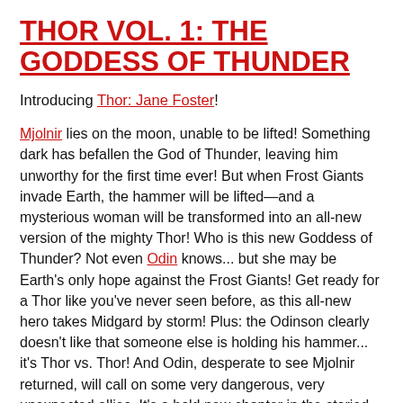THOR VOL. 1: THE GODDESS OF THUNDER
Introducing Thor: Jane Foster!
Mjolnir lies on the moon, unable to be lifted! Something dark has befallen the God of Thunder, leaving him unworthy for the first time ever! But when Frost Giants invade Earth, the hammer will be lifted—and a mysterious woman will be transformed into an all-new version of the mighty Thor! Who is this new Goddess of Thunder? Not even Odin knows... but she may be Earth's only hope against the Frost Giants! Get ready for a Thor like you've never seen before, as this all-new hero takes Midgard by storm! Plus: the Odinson clearly doesn't like that someone else is holding his hammer... it's Thor vs. Thor! And Odin, desperate to see Mjolnir returned, will call on some very dangerous, very unexpected allies. It's a bold new chapter in the storied history of